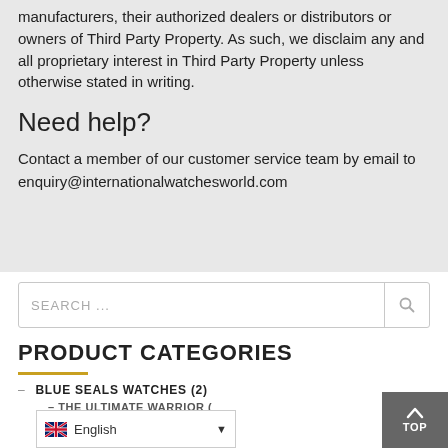manufacturers, their authorized dealers or distributors or owners of Third Party Property. As such, we disclaim any and all proprietary interest in Third Party Property unless otherwise stated in writing.
Need help?
Contact a member of our customer service team by email to enquiry@internationalwatchesworld.com
SEARCH ...
PRODUCT CATEGORIES
BLUE SEALS WATCHES (2)
THE ULTIMATE WARRIOR (